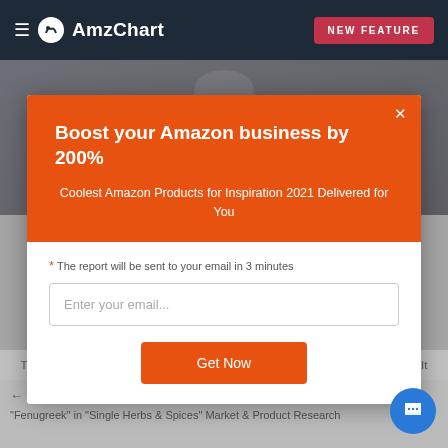AmzChart — NEW FEATURE
[Figure (photo): Partial background image showing a person, partially obscured by a modal overlay]
Boost your Amazon business by 200%
Coolest Amazon Products for Inspiration 2021 Delivered for You
* The report will be sent to your email in 3 minutes
Enter your email...
Get Now
Twitter   Reddit   Tumblr   Email   Buffer   LinkedIn   Pin It
← "Ham" in "Deli-Sliced Meats" Market & Product Research Amazon | AmzChart
"Fenugreek" in "Single Herbs & Spices" Market & Product Research